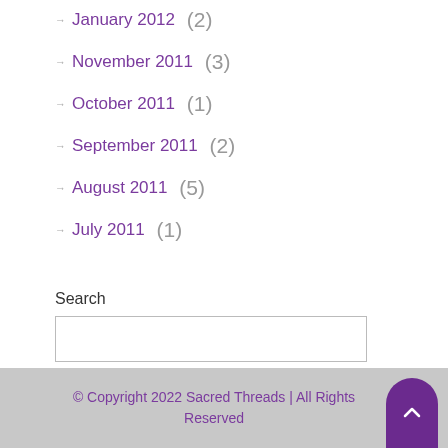January 2012 (2)
November 2011 (3)
October 2011 (1)
September 2011 (2)
August 2011 (5)
July 2011 (1)
Search
© Copyright 2022 Sacred Threads | All Rights Reserved